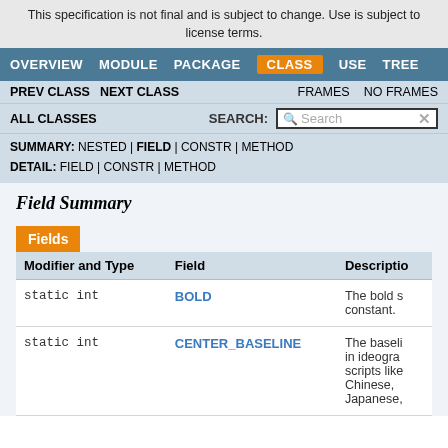This specification is not final and is subject to change. Use is subject to license terms.
OVERVIEW  MODULE  PACKAGE  CLASS  USE  TREE
PREV CLASS  NEXT CLASS  FRAMES  NO FRAMES
ALL CLASSES  SEARCH:
SUMMARY: NESTED | FIELD | CONSTR | METHOD
DETAIL: FIELD | CONSTR | METHOD
Field Summary
Fields
| Modifier and Type | Field | Description |
| --- | --- | --- |
| static int | BOLD | The bold s constant. |
| static int | CENTER_BASELINE | The baseli in ideogra scripts like Chinese, Japanese, |